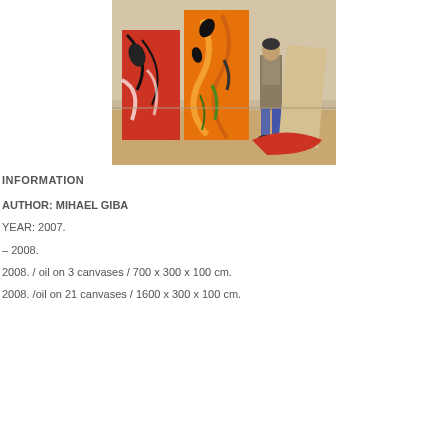[Figure (photo): A person standing among large colorful abstract paintings in an art studio or gallery. The paintings feature bold orange, red, and black brush strokes on large canvases leaning against a wall.]
INFORMATION
AUTHOR: MIHAEL GIBA
YEAR: 2007.
– 2008.
2008. / oil on 3 canvases / 700 x 300 x 100 cm.
2008. /oil on 21 canvases / 1600 x 300 x 100 cm.